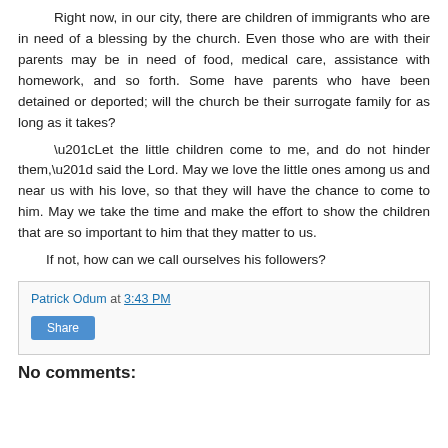Right now, in our city, there are children of immigrants who are in need of a blessing by the church. Even those who are with their parents may be in need of food, medical care, assistance with homework, and so forth. Some have parents who have been detained or deported; will the church be their surrogate family for as long as it takes?

“Let the little children come to me, and do not hinder them,” said the Lord. May we love the little ones among us and near us with his love, so that they will have the chance to come to him. May we take the time and make the effort to show the children that are so important to him that they matter to us.

If not, how can we call ourselves his followers?
Patrick Odum at 3:43 PM
Share
No comments: